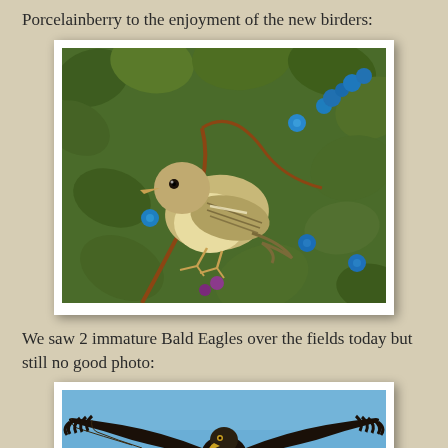Porcelainberry to the enjoyment of the new birders:
[Figure (photo): A small yellow-olive warbler bird perched among green leaves and blue porcelainberry berries on a vine.]
We saw 2 immature Bald Eagles over the fields today but still no good photo:
[Figure (photo): An immature Bald Eagle in flight against a blue sky, viewed from below showing dark wings spread wide.]